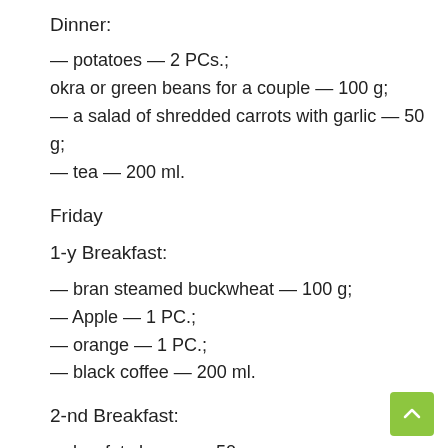Dinner:
— potatoes — 2 PCs.;
okra or green beans for a couple — 100 g;
— a salad of shredded carrots with garlic — 50 g;
— tea — 200 ml.
Friday
1-y Breakfast:
— bran steamed buckwheat — 100 g;
— Apple — 1 PC.;
— orange — 1 PC.;
— black coffee — 200 ml.
2-nd Breakfast:
— low fat cheese — 50 g;
— pear juice with pulp — 150 ml.